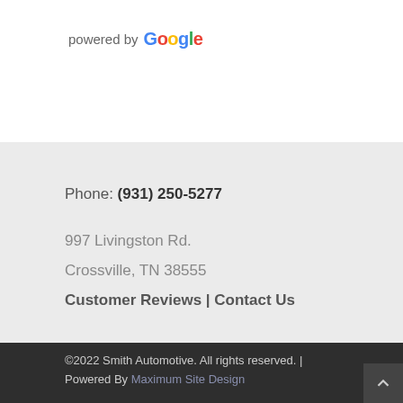[Figure (logo): powered by Google logo with colorful Google wordmark]
Phone: (931) 250-5277
997 Livingston Rd.
Crossville, TN 38555
Customer Reviews | Contact Us
©2022 Smith Automotive. All rights reserved. | Powered By Maximum Site Design